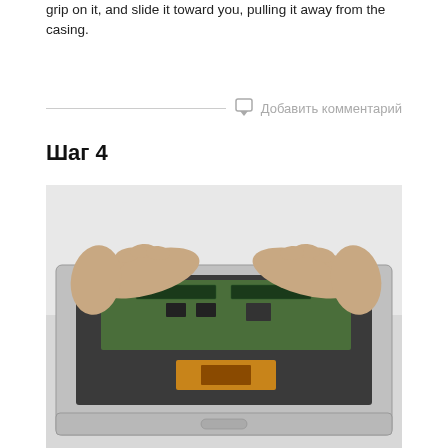grip on it, and slide it toward you, pulling it away from the casing.
Добавить комментарий
Шаг 4
[Figure (photo): Two hands working on the inside of an open laptop/MacBook, accessing the logic board and memory modules area, with the keyboard removed.]